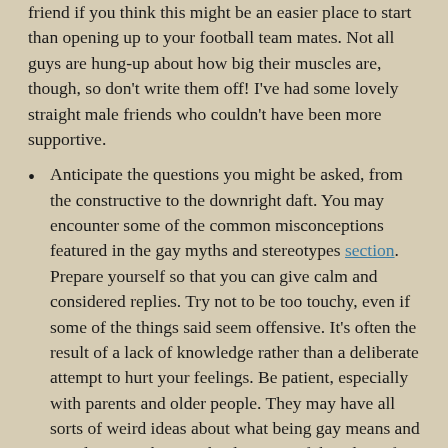friend if you think this might be an easier place to start than opening up to your football team mates. Not all guys are hung-up about how big their muscles are, though, so don't write them off! I've had some lovely straight male friends who couldn't have been more supportive.
Anticipate the questions you might be asked, from the constructive to the downright daft. You may encounter some of the common misconceptions featured in the gay myths and stereotypes section. Prepare yourself so that you can give calm and considered replies. Try not to be too touchy, even if some of the things said seem offensive. It's often the result of a lack of knowledge rather than a deliberate attempt to hurt your feelings. Be patient, especially with parents and older people. They may have all sorts of weird ideas about what being gay means and entails. Point them in the direction of the advice for parents and friends section.
Help people to see that you're still you. Being gay doesn't define you.
Try to pick a time to come out when the person is relaxed and not in the middle of an upheaval or upset of...